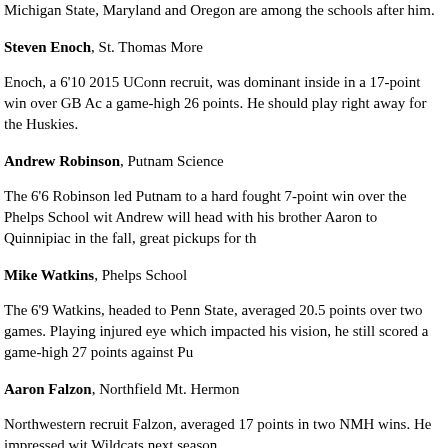Michigan State, Maryland and Oregon are among the schools after him.
Steven Enoch, St. Thomas More
Enoch, a 6'10 2015 UConn recruit, was dominant inside in a 17-point win over GB Ac a game-high 26 points. He should play right away for the Huskies.
Andrew Robinson, Putnam Science
The 6'6 Robinson led Putnam to a hard fought 7-point win over the Phelps School wit Andrew will head with his brother Aaron to Quinnipiac in the fall, great pickups for th
Mike Watkins, Phelps School
The 6'9 Watkins, headed to Penn State, averaged 20.5 points over two games. Playing injured eye which impacted his vision, he still scored a game-high 27 points against Pu
Aaron Falzon, Northfield Mt. Hermon
Northwestern recruit Falzon, averaged 17 points in two NMH wins. He impressed wit Wildcats next season.
[Figure (photo): Black image/photo block on the left side of the bottom row]
JaQuan Lyle, IMG Academy
Lyle, the former Oregon recruit who will now be